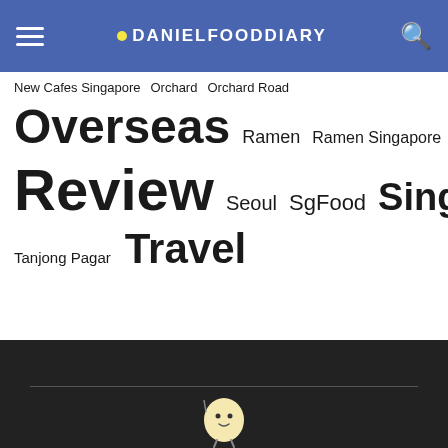DANIELFOODDIARY
New Cafes Singapore   Orchard   Orchard Road   Overseas   Ramen   Ramen Singapore   Restaurant   Review   Seoul   SgFood   Singapore   Taipei   Tanjong Pagar   Travel
[Figure (illustration): Mascot character: a small round egg-shaped figure with eyes and legs at the bottom of a dark footer section]